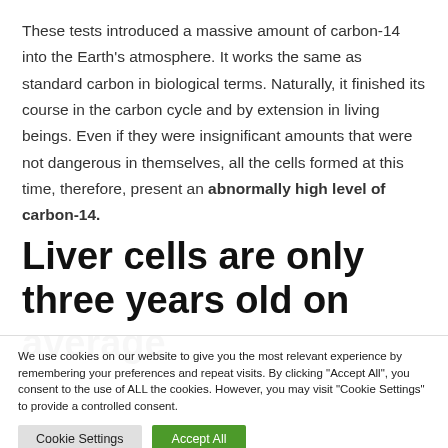These tests introduced a massive amount of carbon-14 into the Earth's atmosphere. It works the same as standard carbon in biological terms. Naturally, it finished its course in the carbon cycle and by extension in living beings. Even if they were insignificant amounts that were not dangerous in themselves, all the cells formed at this time, therefore, present an abnormally high level of carbon-14.
Liver cells are only three years old on average
We use cookies on our website to give you the most relevant experience by remembering your preferences and repeat visits. By clicking "Accept All", you consent to the use of ALL the cookies. However, you may visit "Cookie Settings" to provide a controlled consent.